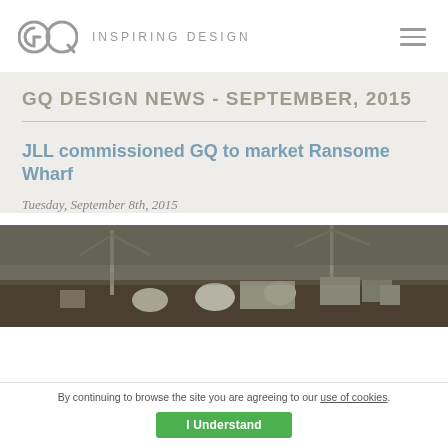GQ · INSPIRING DESIGN
GQ DESIGN NEWS - SEPTEMBER, 2015
JLL commissioned GQ to market Ransome Wharf
Tuesday, September 8th, 2015
[Figure (photo): Aerial view of Ransome Wharf construction/industrial site with cranes and equipment near water]
By continuing to browse the site you are agreeing to our use of cookies.
I Understand